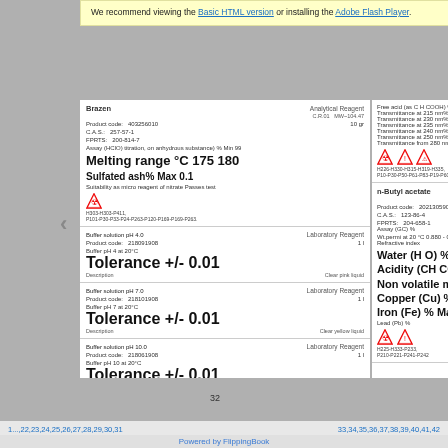We recommend viewing the Basic HTML version or installing the Adobe Flash Player.
Brazen | Analytical Reagent | C.R.01 MW~104.47
Product code: 403256010 | 10 gr
C.A.S.: 257-57-1
FPRTS: 200-814-7
Assay (HClO) titration, on anhydrous substance) % Min 99
Melting range °C 175 180
Sulfated ash% Max 0.1
Suitability as micro reagent of nitrate Passes test
H303-H303-P411, P101-P30-P33-P24-P263-P120-P169-P169-P263.
Buffer solution pH 4.0 | Laboratory Reagent
Product code: 218091908 | 1L
Buffer pH 4 at 20°C
Tolerance +/- 0.01
Description | Clear pink liquid
Buffer solution pH 7.0 | Laboratory Reagent
Product code: 218101908 | 1L
Buffer pH 7 at 20°C
Tolerance +/- 0.01
Description | Clear yellow liquid
Buffer solution pH 10.0 | Laboratory Reagent
Product code: 218061908 | 1L
Buffer pH 10 at 20°C
Tolerance +/- 0.01
Description | Clear blue liquid
Free acid (as C H COOH) % Max 0.002 | Transmittance at 215 nm% Min 10 | Transmittance at 230 nm% Min 65 | Transmittance at 235 nm% Min 80 | Transmittance at 240 nm% Min 85 | Transmittance at 250 nm% Min 92 | Transmittance from 280 nm% Min 98
n-Butyl acetate | Analytical Reagent | CAS | MW~116.16
Product code: 202130590/1000 | 500ml / 1L
C.A.S.: 123-86-4
FPRTS: 204-658-1
Assay (GC) % Min 99.5
Wt.permi at 20 °C 0.880 - 0.882 g/ml
Refractive index 1.394 - 1.395
Water (H O) % Max 0.1
Acidity (CH COOH) % Max 0.005
Non volatile matter% Max 0.001
Copper (Cu) % Max 0.0001
Iron (Fe) % Max 0.0001
Lead (Pb) % Max 0.0001
H225-H333-P233, P210-P221-P241-P242
32
1...,22,23,24,25,26,27,28,29,30,31 | 33,34,35,36,37,38,39,40,41,42
Powered by FlippingBook